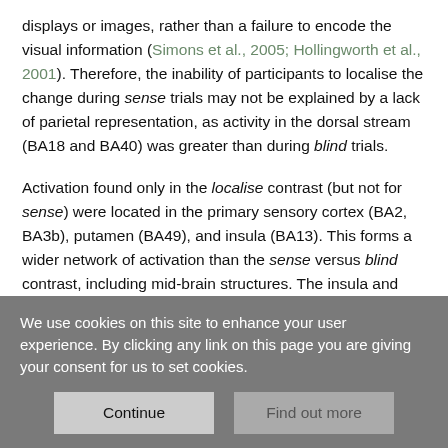displays or images, rather than a failure to encode the visual information (Simons et al., 2005; Hollingworth et al., 2001). Therefore, the inability of participants to localise the change during sense trials may not be explained by a lack of parietal representation, as activity in the dorsal stream (BA18 and BA40) was greater than during blind trials.
Activation found only in the localise contrast (but not for sense) were located in the primary sensory cortex (BA2, BA3b), putamen (BA49), and insula (BA13). This forms a wider network of activation than the sense versus blind contrast, including mid-brain structures. The insula and putamen are both hypothesised to act as hubs in key brain networks relating to cognitive control,
We use cookies on this site to enhance your user experience. By clicking any link on this page you are giving your consent for us to set cookies.